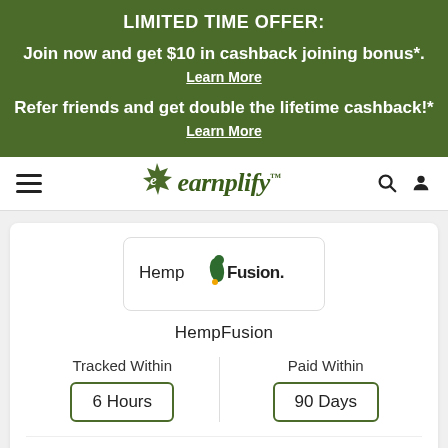LIMITED TIME OFFER:
Join now and get $10 in cashback joining bonus*. Learn More
Refer friends and get double the lifetime cashback!* Learn More
[Figure (logo): earnplify logo with leaf icon and TM mark]
[Figure (logo): HempFusion logo]
HempFusion
Tracked Within
6 Hours
Paid Within
90 Days
Missing Cashback Claim: Allowed